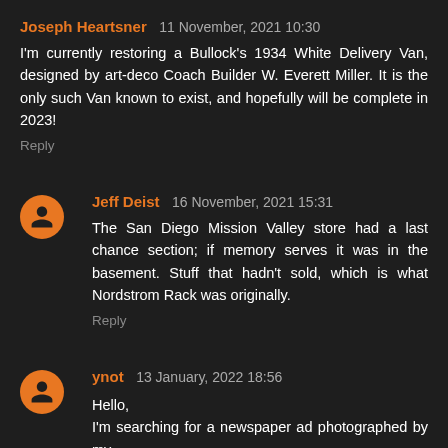Joseph Heartsner 11 November, 2021 10:30
I'm currently restoring a Bullock's 1934 White Delivery Van, designed by art-deco Coach Builder W. Everett Miller. It is the only such Van known to exist, and hopefully will be complete in 2023!
Reply
Jeff Deist 16 November, 2021 15:31
The San Diego Mission Valley store had a last chance section; if memory serves it was in the basement. Stuff that hadn't sold, which is what Nordstrom Rack was originally.
Reply
ynot 13 January, 2022 18:56
Hello,
I'm searching for a newspaper ad photographed by my